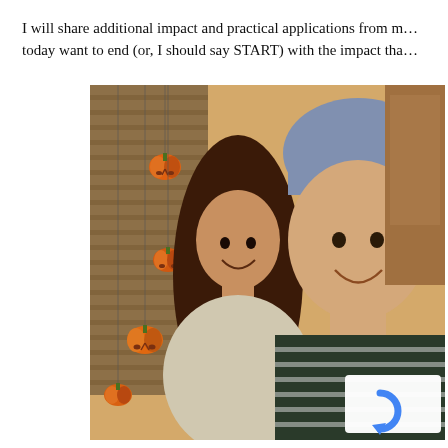I will share additional impact and practical applications from m… today want to end (or, I should say START) with the impact tha…
[Figure (photo): A woman and a man posing together indoors. Halloween pumpkin decorations hang in the background near window blinds. The man is wearing a blue cap and striped polo shirt. A reCAPTCHA badge is visible in the lower right corner with 'Privacy - Terms' text.]